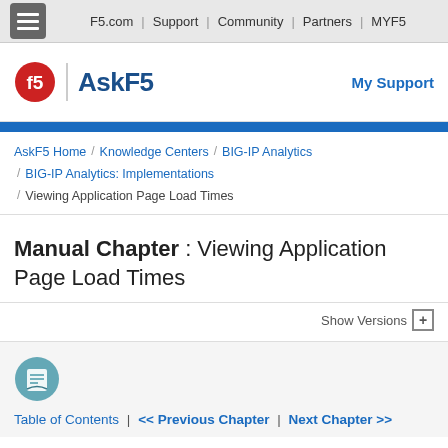F5.com | Support | Community | Partners | MYF5
[Figure (logo): F5 AskF5 logo with red F5 circle and blue AskF5 text]
My Support
AskF5 Home / Knowledge Centers / BIG-IP Analytics / BIG-IP Analytics: Implementations / Viewing Application Page Load Times
Manual Chapter : Viewing Application Page Load Times
Show Versions +
Table of Contents | << Previous Chapter | Next Chapter >>